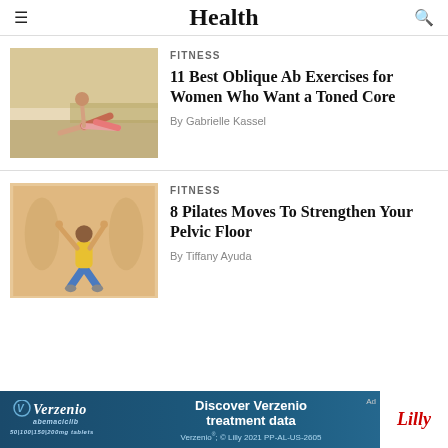Health
FITNESS
[Figure (photo): Woman doing oblique side plank exercise outdoors on pavement]
11 Best Oblique Ab Exercises for Women Who Want a Toned Core
By Gabrielle Kassel
FITNESS
[Figure (photo): Woman doing Pilates squat exercise with arms raised, warm beige background]
8 Pilates Moves To Strengthen Your Pelvic Floor
By Tiffany Ayuda
[Figure (infographic): Verzenio advertisement banner: Discover Verzenio treatment data. Verzenio abemaciclib 50|100|150|200mg tablets. © Lilly 2021 PP-AL-US-2605. Lilly logo.]